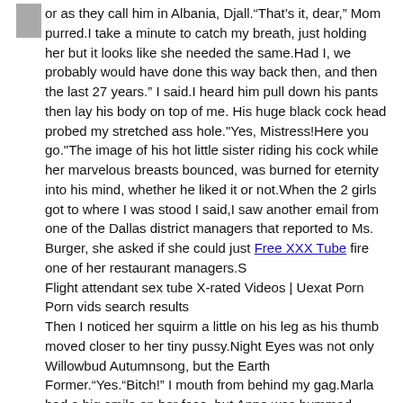or as they call him in Albania, Djall.“That’s it, dear,” Mom purred.I take a minute to catch my breath, just holding her but it looks like she needed the same.Had I, we probably would have done this way back then, and then the last 27 years.” I said.I heard him pull down his pants then lay his body on top of me. His huge black cock head probed my stretched ass hole."Yes, Mistress!Here you go."The image of his hot little sister riding his cock while her marvelous breasts bounced, was burned for eternity into his mind, whether he liked it or not.When the 2 girls got to where I was stood I said,I saw another email from one of the Dallas district managers that reported to Ms. Burger, she asked if she could just Free XXX Tube fire one of her restaurant managers.S
Flight attendant sex tube X-rated Videos | Uexat Porn
Porn vids search results
Then I noticed her squirm a little on his leg as his thumb moved closer to her tiny pussy.Night Eyes was not only Willowbud Autumnsong, but the Earth Former.“Yes.“Bitch!” I mouth from behind my gag.Marla had a big smile on her face, but Anne was bummed having to wait in car.I reached up grabbing ahold of you by face and told you “ Either you enter me now or I’m going to rape you buster” I told you in stern tone of voice you laughed and said “ baby you can’t rape the willing” as you pressed the tip of dick at my maid head and then with one strong thrust you drove your full length deep into my canal.His fingers felt so good down there but the pain in my nipples was sending feelings deep into my body.My incestuous pleasure rippled out of my pussy."No don’t beg, I